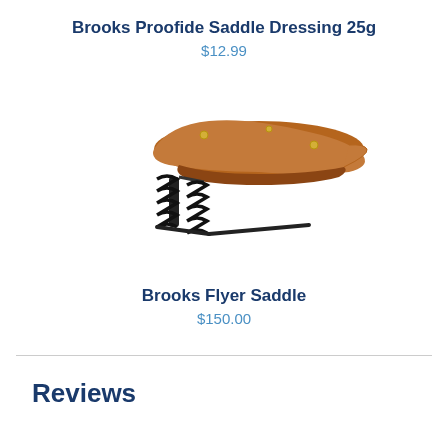Brooks Proofide Saddle Dressing 25g
$12.99
[Figure (photo): Photo of a Brooks Flyer Saddle — a brown leather bicycle saddle with black coil springs underneath]
Brooks Flyer Saddle
$150.00
Reviews